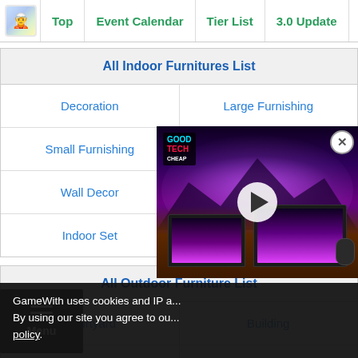Top | Event Calendar | Tier List | 3.0 Update | Electroc
| All Indoor Furnitures List |  |
| --- | --- |
| Decoration | Large Furnishing |
| Small Furnishing | Ornaments |
| Wall Decor | Animal |
| Indoor Set | - |
| All Outdoor Furniture List |  |
| --- | --- |
| Courtyard | Building |
| Landform | Landscape |
| Animal |  |
| Outdoor Furnishing |  |
[Figure (screenshot): Video player overlay showing GoodTechCheap tech review video thumbnail with laptops against a purple/pink glowing background]
GameWith uses cookies and IP a... By using our site you agree to ou... policy.